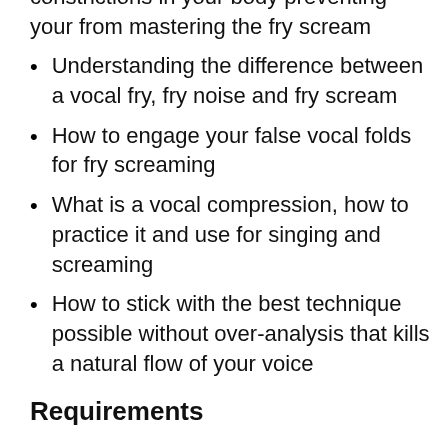constrictions in your body preventing your from mastering the fry scream
Understanding the difference between a vocal fry, fry noise and fry scream
How to engage your false vocal folds for fry screaming
What is a vocal compression, how to practice it and use for singing and screaming
How to stick with the best technique possible without over-analysis that kills a natural flow of your voice
Requirements